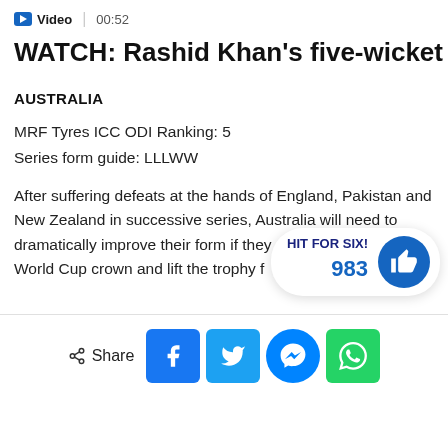Video | 00:52
WATCH: Rashid Khan's five-wicket haul
AUSTRALIA
MRF Tyres ICC ODI Ranking: 5
Series form guide: LLLWW
After suffering defeats at the hands of England, Pakistan and New Zealand in successive series, Australia will need to dramatically improve their form if they a... World Cup crown and lift the trophy f...
[Figure (infographic): HIT FOR SIX! badge showing 983 likes with a blue thumbs-up circle button]
Share (with Facebook, Twitter, Messenger, WhatsApp icons)